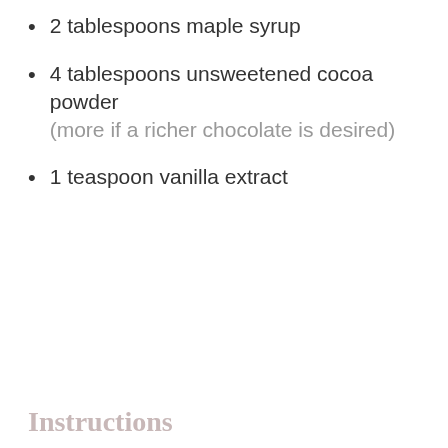2 tablespoons maple syrup
4 tablespoons unsweetened cocoa powder (more if a richer chocolate is desired)
1 teaspoon vanilla extract
Instructions